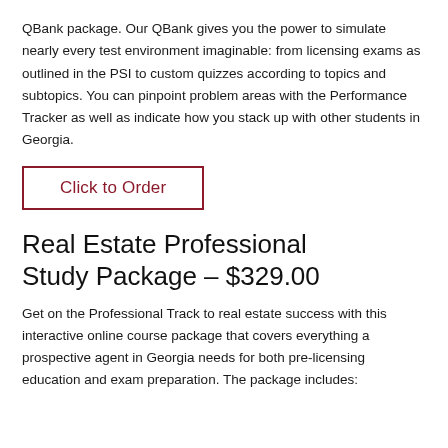QBank package. Our QBank gives you the power to simulate nearly every test environment imaginable: from licensing exams as outlined in the PSI to custom quizzes according to topics and subtopics. You can pinpoint problem areas with the Performance Tracker as well as indicate how you stack up with other students in Georgia.
Click to Order
Real Estate Professional Study Package – $329.00
Get on the Professional Track to real estate success with this interactive online course package that covers everything a prospective agent in Georgia needs for both pre-licensing education and exam preparation. The package includes: